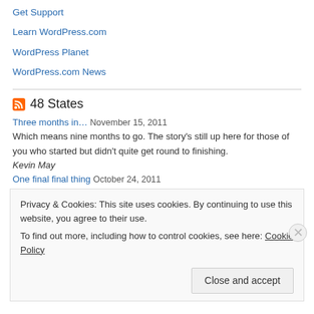Get Support
Learn WordPress.com
WordPress Planet
WordPress.com News
48 States
Three months in… November 15, 2011
Which means nine months to go. The story's still up here for those of you who started but didn't quite get round to finishing.
Kevin May
One final final thing October 24, 2011
Privacy & Cookies: This site uses cookies. By continuing to use this website, you agree to their use.
To find out more, including how to control cookies, see here: Cookie Policy